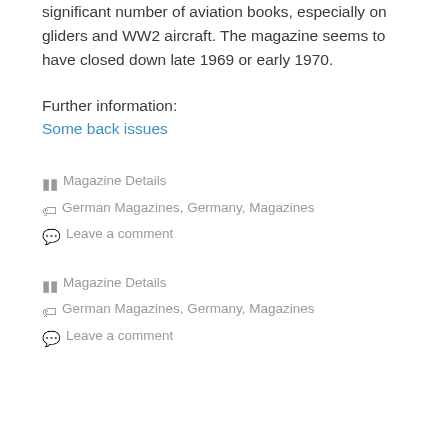significant number of aviation books, especially on gliders and WW2 aircraft. The magazine seems to have closed down late 1969 or early 1970.
Further information:
Some back issues
Magazine Details
German Magazines, Germany, Magazines
Leave a comment
Magazine Details
German Magazines, Germany, Magazines
Leave a comment